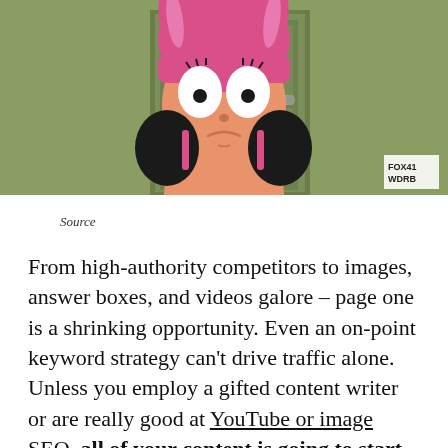[Figure (illustration): Animated cartoon character (Louise from Bob's Burgers) wearing a pink bunny ear hat, with wide eyes and a frown, standing in front of a green door. FOX41 WDRB watermark in bottom right corner.]
Source
From high-authority competitors to images, answer boxes, and videos galore – page one is a shrinking opportunity. Even an on-point keyword strategy can't drive traffic alone. Unless you employ a gifted content writer or are really good at YouTube or image SEO, all of your content is going to start